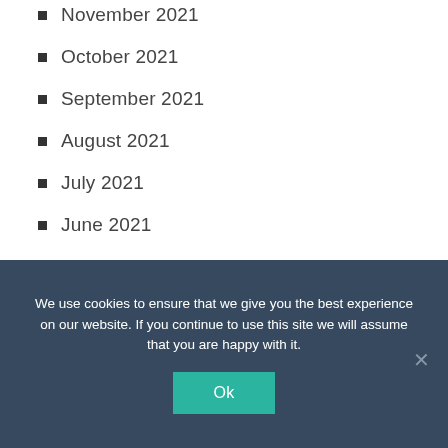November 2021
October 2021
September 2021
August 2021
July 2021
June 2021
May 2021
April 2021
We use cookies to ensure that we give you the best experience on our website. If you continue to use this site we will assume that you are happy with it.
Ok